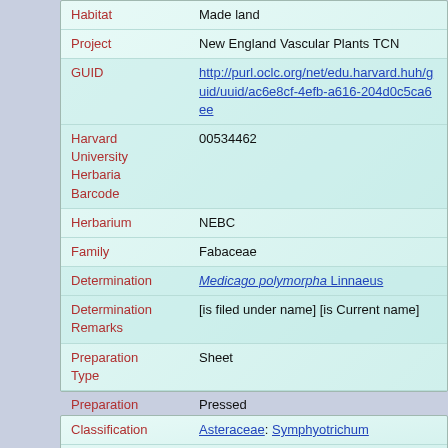| Field | Value |
| --- | --- |
| Habitat | Made land |
| Project | New England Vascular Plants TCN |
| GUID | http://purl.oclc.org/net/edu.harvard.huh/guid/uuid/ac6e8cf-4efb-a616-204d0c5ca6ee |
| Harvard University Herbaria Barcode | 00534462 |
| Herbarium | NEBC |
| Family | Fabaceae |
| Determination | Medicago polymorpha Linnaeus |
| Determination Remarks | [is filed under name] [is Current name] |
| Preparation Type | Sheet |
| Preparation Method | Pressed |
| Field | Value |
| --- | --- |
| Classification | Asteraceae: Symphyotrichum |
| Harvard University ... | 00705242 |